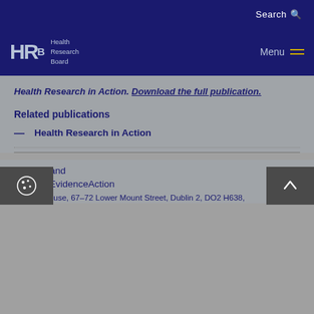Search
[Figure (logo): HRB Health Research Board logo with Menu button on the right]
Health Research in Action. Download the full publication.
Related publications
Health Research in Action
@hrbireland
[H]earchEvidenceAction
Grattan House, 67-72 Lower Mount Street, Dublin 2, DO2 H638,